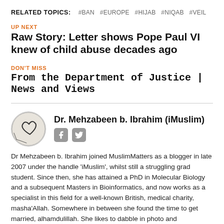RELATED TOPICS:  #BAN  #EUROPE  #HIJAB  #NIQAB  #VEIL
UP NEXT
Raw Story: Letter shows Pope Paul VI knew of child abuse decades ago
DON'T MISS
From the Department of Justice | News and Views
[Figure (illustration): Circular avatar photo of Dr. Mehzabeen b. Ibrahim, showing a hand-drawn heart symbol on a light background]
Dr. Mehzabeen b. Ibrahim (iMuslim)
Dr Mehzabeen b. Ibrahim joined MuslimMatters as a blogger in late 2007 under the handle 'iMuslim', whilst still a struggling grad student. Since then, she has attained a PhD in Molecular Biology and a subsequent Masters in Bioinformatics, and now works as a specialist in this field for a well-known British, medical charity, masha'Allah. Somewhere in between she found the time to get married, alhamdulillah. She likes to dabble in photo and videography, a sample of which can be found on her personal blog: